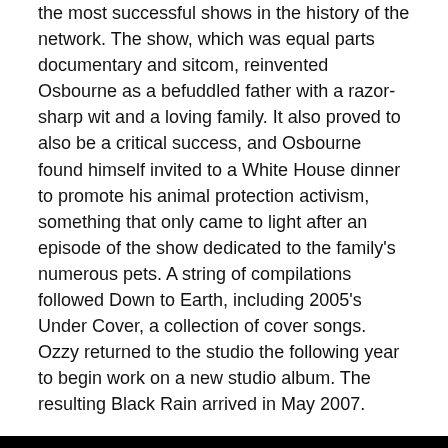the most successful shows in the history of the network. The show, which was equal parts documentary and sitcom, reinvented Osbourne as a befuddled father with a razor-sharp wit and a loving family. It also proved to also be a critical success, and Osbourne found himself invited to a White House dinner to promote his animal protection activism, something that only came to light after an episode of the show dedicated to the family's numerous pets. A string of compilations followed Down to Earth, including 2005's Under Cover, a collection of cover songs. Ozzy returned to the studio the following year to begin work on a new studio album. The resulting Black Rain arrived in May 2007.
JOIN THE MERCH STORE MAILING LIST | POLITIQUE DE CONFIDENTIALITÉ | TERMES ET CONDITIONS | CONTACTEZ NOUS | AIDE ET FAQ | GUIDE DES TAILLES | ZONES DE LIVRAISON ET TARIFS | RETOURS